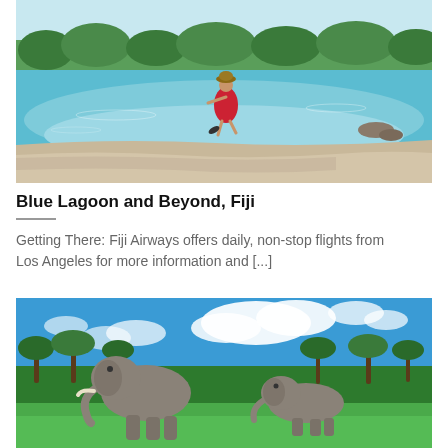[Figure (photo): Woman in red dress wading along a tropical beach with clear turquoise water and sandy shore, Fiji]
Blue Lagoon and Beyond, Fiji
Getting There: Fiji Airways offers daily, non-stop flights from Los Angeles for more information and [...]
[Figure (photo): Two elephants resting on green grass with palm trees and a bright blue sky with white clouds in background]